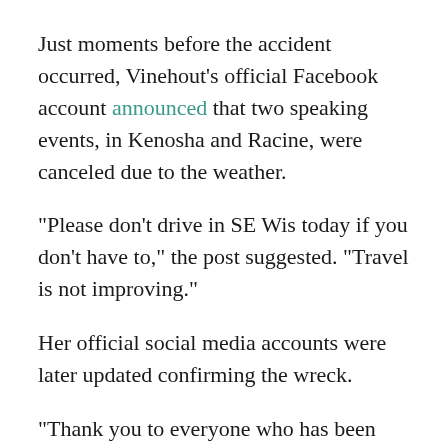Just moments before the accident occurred, Vinehout's official Facebook account announced that two speaking events, in Kenosha and Racine, were canceled due to the weather.
"Please don't drive in SE Wis today if you don't have to," the post suggested. "Travel is not improving."
Her official social media accounts were later updated confirming the wreck.
"Thank you to everyone who has been asking about Kathleen," a member of her staff wrote on Facebook. "Here's what we know so far. Kathleen's vehicle was involved in a multi-car accident on I94 near Racine this morning. She is currently receiving